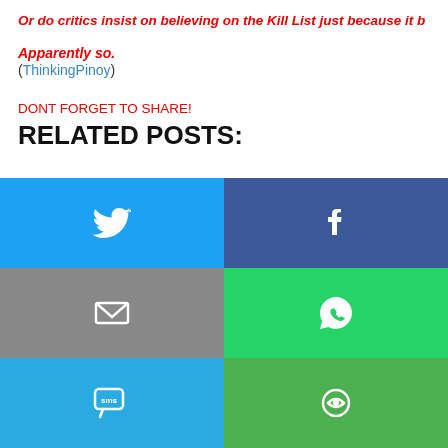Or do critics insist on believing on the Kill List just because it b…
Apparently so.
(ThinkingPinoy)
DONT FORGET TO SHARE!
RELATED POSTS:
[Figure (infographic): Six social share buttons in a 2x3 grid: Twitter (blue), Facebook (dark blue), Email (gray), WhatsApp (green), SMS (light blue), Copy/Other (green)]